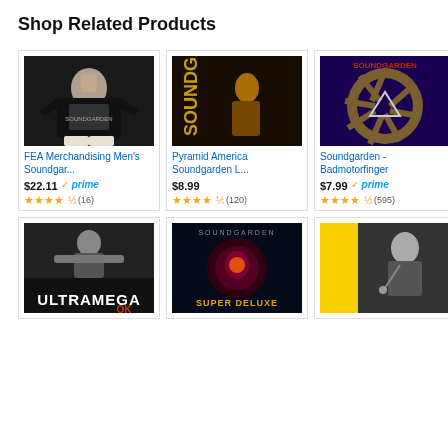Shop Related Products
[Figure (photo): Man wearing black Soundgarden t-shirt]
FEA Merchandising Men's Soundgar...
$22.11 prime (16)
[Figure (photo): Soundgarden concert poster with yellow lettering on dark background]
Pyramid America Soundgarden L...
$8.99 (120)
[Figure (photo): Soundgarden Badmotorfinger album cover with circular saw design]
Soundgarden - Badmotorfinger
$7.99 prime (595)
[Figure (photo): Soundgarden Ultramega OK album cover in black and white]
[Figure (photo): Soundgarden Super Deluxe album cover with dark circular image]
[Figure (photo): Soundgarden poster with performer in black and white]